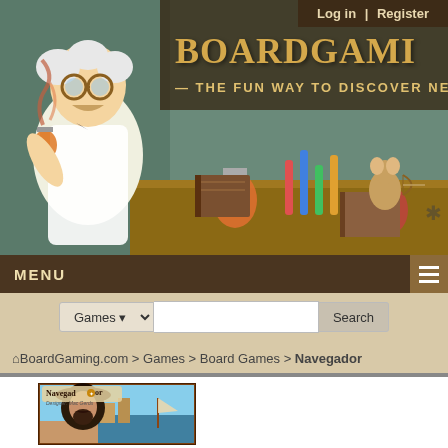[Figure (screenshot): BoardGaming.com website header banner with scientist illustration, lab equipment, board game themed artwork, and site logo text 'BOARDGAMI' with tagline '— THE FUN WAY TO DISCOVER NEW GA']
Log in | Register
MENU
Games ▾  [search box]  Search
⌂ BoardGaming.com > Games > Board Games > Navegador
[Figure (photo): Navegador board game box cover showing a figure in a wide-brimmed hat with ships and coastal scenery, title reads NAVEGADOR, Designer: Mac Gerds]